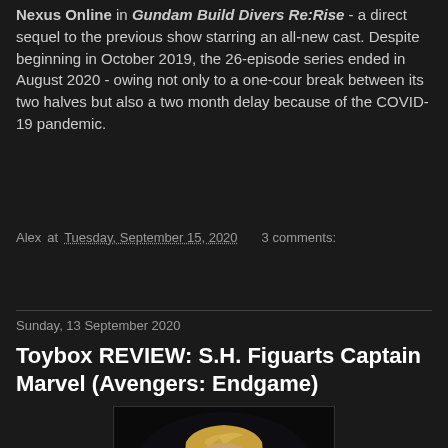Nexus Online in Gundam Build Divers Re:Rise - a direct sequel to the previous show starring an all-new cast. Despite beginning in October 2019, the 26-episode series ended in August 2020 - owing not only to a one-cour break between its two halves but also a two month delay because of the COVID-19 pandemic.
Alex at Tuesday, September 15, 2020   3 comments:
Share
Sunday, 13 September 2020
Toybox REVIEW: S.H. Figuarts Captain Marvel (Avengers: Endgame)
[Figure (photo): Close-up photo of S.H. Figuarts Captain Marvel figure head with blonde hair against dark background]